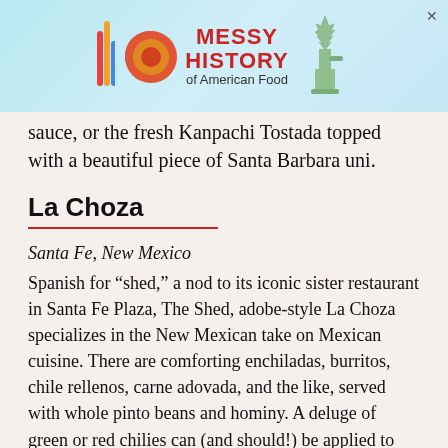[Figure (other): Advertisement banner for 'Messy History of American Food' featuring a rainbow bar chart graphic, a colorful circular logo, red bold text reading MESSY HISTORY of American Food, and a Statue of Liberty illustration on a light blue background. An X close button is in the top right.]
sauce, or the fresh Kanpachi Tostada topped with a beautiful piece of Santa Barbara uni.
La Choza
Santa Fe, New Mexico
Spanish for “shed,” a nod to its iconic sister restaurant in Santa Fe Plaza, The Shed, adobe-style La Choza specializes in the New Mexican take on Mexican cuisine. There are comforting enchiladas, burritos, chile rellenos, carne adovada, and the like, served with whole pinto beans and hominy. A deluge of green or red chilies can (and should!) be applied to practically any dish, and if you refuse to